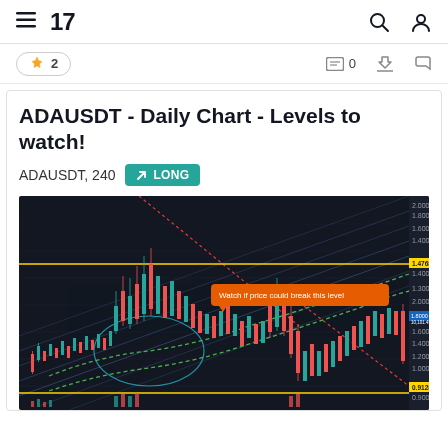TradingView navigation bar with hamburger menu, 17 logo, search icon, and user icon
2  0  (bookmark icon)
ADAUSDT - Daily Chart - Levels to watch!
ADAUSDT, 240   LONG
[Figure (screenshot): ADAUSDT daily candlestick trading chart on dark background showing price levels, support/resistance lines, green dotted channel, diagonal parallel lines, yellow horizontal support lines near 0.9128, orange tooltip reading 'Watch if price could break this level', and a blue price label at approximately 1.8000. Price range from approximately 0.9 to 2.0+.]